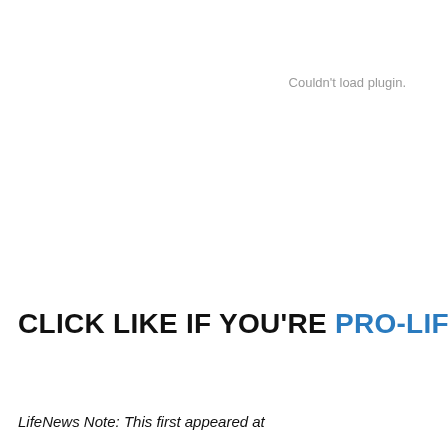Couldn't load plugin.
CLICK LIKE IF YOU'RE PRO-LIFE!
LifeNews Note: This first appeared at